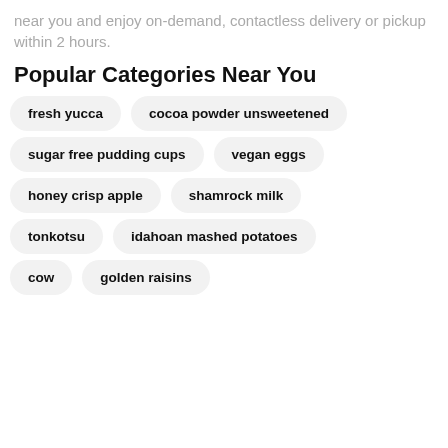near you and enjoy on-demand, contactless delivery or pickup within 2 hours.
Popular Categories Near You
fresh yucca
cocoa powder unsweetened
sugar free pudding cups
vegan eggs
honey crisp apple
shamrock milk
tonkotsu
idahoan mashed potatoes
cow
golden raisins